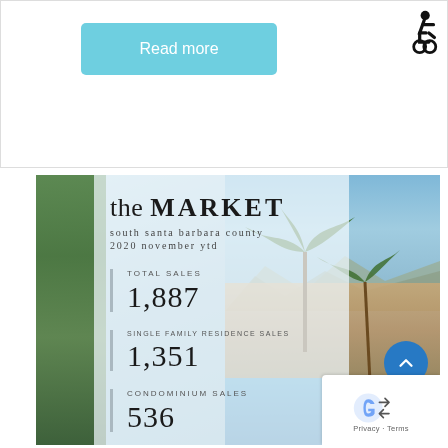Read more
[Figure (illustration): Wheelchair accessibility icon]
the MARKET
south santa barbara county
2020 november ytd
TOTAL SALES
1,887
SINGLE FAMILY RESIDENCE SALES
1,351
CONDOMINIUM SALES
536
[Figure (photo): Santa Barbara luxury property with pool, palm trees, and mountain backdrop]
Privacy · Terms